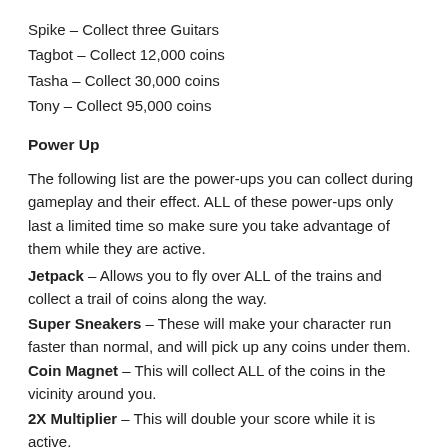Spike – Collect three Guitars
Tagbot – Collect 12,000 coins
Tasha – Collect 30,000 coins
Tony – Collect 95,000 coins
Power Up
The following list are the power-ups you can collect during gameplay and their effect. ALL of these power-ups only last a limited time so make sure you take advantage of them while they are active.
Jetpack – Allows you to fly over ALL of the trains and collect a trail of coins along the way.
Super Sneakers – These will make your character run faster than normal, and will pick up any coins under them.
Coin Magnet – This will collect ALL of the coins in the vicinity around you.
2X Multiplier – This will double your score while it is active.